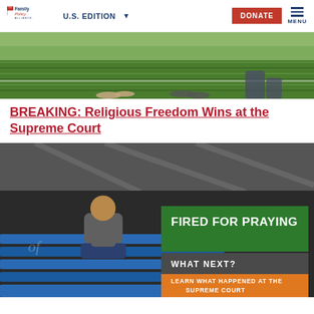Family Policy Alliance | U.S. EDITION | DONATE | MENU
[Figure (photo): Close-up of people's feet/legs on green grass field, viewed from low angle]
BREAKING: Religious Freedom Wins at the Supreme Court
[Figure (photo): Man sitting on blue bleachers under a stadium roof structure. Overlay text: FIRED FOR PRAYING / WHAT NEXT? / LEARN WHAT HAPPENED AT THE SUPREME COURT]